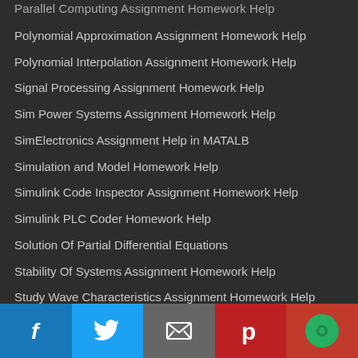Parallel Computing Assignment Homework Help
Polynomial Approximation Assignment Homework Help
Polynomial Interpolation Assignment Homework Help
Signal Processing Assignment Homework Help
Sim Power Systems Assignment Homework Help
SimElectronics Assignment Help in MATALB
Simulation and Model Homework Help
Simulink Code Inspector Assignment Homework Help
Simulink PLC Coder Homework Help
Solution Of Partial Differential Equations
Stability Of Systems Assignment Homework Help
Study Wave Characteristics Assignment Homework Help
System Design and Simulation using Matlab
Window Design Assignment Homework Help
Social share bar: Facebook, Twitter, Email, Pinterest, Widget